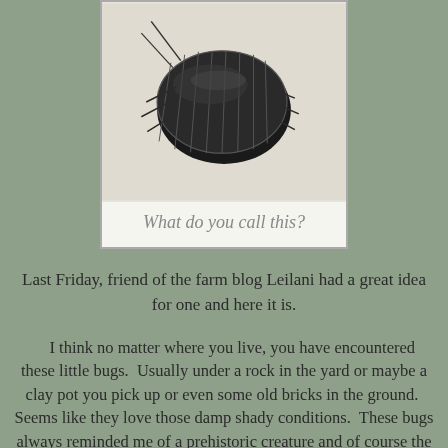[Figure (photo): Close-up photo of a pill bug (roly-poly / woodlouse) on a light surface, viewed from above, showing segmented dark exoskeleton. Below the photo in the same box is the text 'What do you call this?' in gray italic.]
Last Friday, friend of the farm blog Leilani had a great idea for one and here it is.
I think no matter where you live, you have encountered these little bugs.  Usually under a rock in the yard or maybe a clay pot you pick up or even some old bricks in the ground.  Seems like they love those damp shady conditions.  These bugs always reminded me of a prehistoric creature and of course the best part (when you're a kid, ha), is that they roll